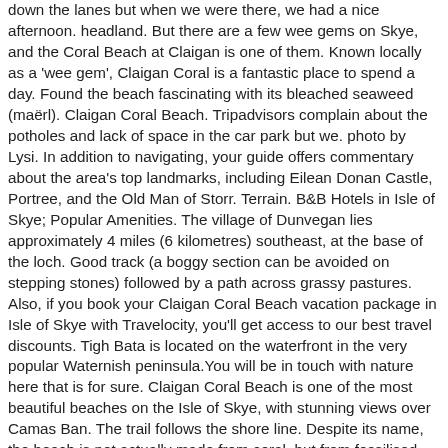down the lanes but when we were there, we had a nice afternoon. headland. But there are a few wee gems on Skye, and the Coral Beach at Claigan is one of them. Known locally as a 'wee gem', Claigan Coral is a fantastic place to spend a day. Found the beach fascinating with its bleached seaweed (maërl). Claigan Coral Beach. Tripadvisors complain about the potholes and lack of space in the car park but we. photo by Lysi. In addition to navigating, your guide offers commentary about the area's top landmarks, including Eilean Donan Castle, Portree, and the Old Man of Storr. Terrain. B&B Hotels in Isle of Skye; Popular Amenities. The village of Dunvegan lies approximately 4 miles (6 kilometres) southeast, at the base of the loch. Good track (a boggy section can be avoided on stepping stones) followed by a path across grassy pastures. Also, if you book your Claigan Coral Beach vacation package in Isle of Skye with Travelocity, you'll get access to our best travel discounts. Tigh Bata is located on the waterfront in the very popular Waternish peninsula.You will be in touch with nature here that is for sure. Claigan Coral Beach is one of the most beautiful beaches on the Isle of Skye, with stunning views over Camas Ban. The trail follows the shore line. Despite its name, the beach is not actually made from coral, but from fossilised and sun-bleached Red Coralline algae. There are some … Bring your camera: This trip offers endless panoramic views of Scotland's natural landscape. 1. 3.5/5 (5 reviews) You can find out about the history of Duntulm when you stop by Duntulm Castle. If you have your dog with you, please don't leave them in the car as they can get